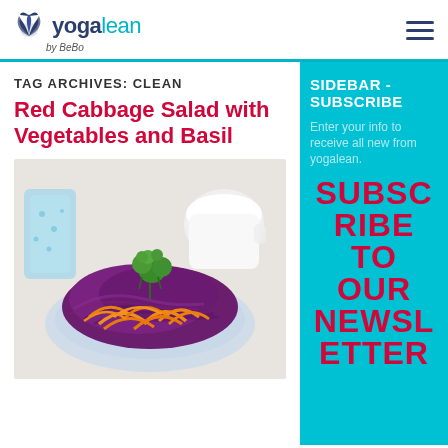[Figure (logo): YogaLean by BeBo logo with teal and navy text and a lotus flower icon]
TAG ARCHIVES: CLEAN
Red Cabbage Salad with Vegetables and Basil
[Figure (photo): A plate of red cabbage salad with shredded carrots and fresh herbs, with a glass and cup in the background]
SIDEBAR - SUBSCRIBE
Enter your info to receive all new from yogalean.
SUBSCRIBE TO OUR NEWSLETTER